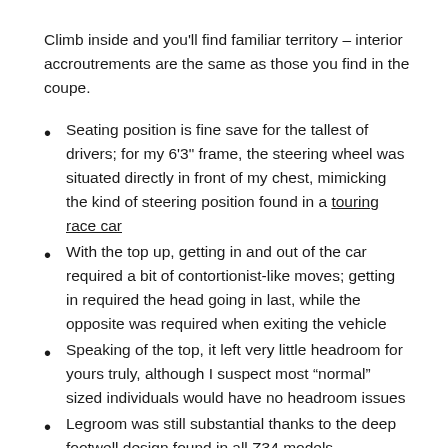Climb inside and you'll find familiar territory – interior accroutrements are the same as those you find in the coupe.
Seating position is fine save for the tallest of drivers; for my 6'3" frame, the steering wheel was situated directly in front of my chest, mimicking the kind of steering position found in a touring race car
With the top up, getting in and out of the car required a bit of contortionist-like moves; getting in required the head going in last, while the opposite was required when exiting the vehicle
Speaking of the top, it left very little headroom for yours truly, although I suspect most “normal” sized individuals would have no headroom issues
Legroom was still substantial thanks to the deep footwell design found in all Z34 models